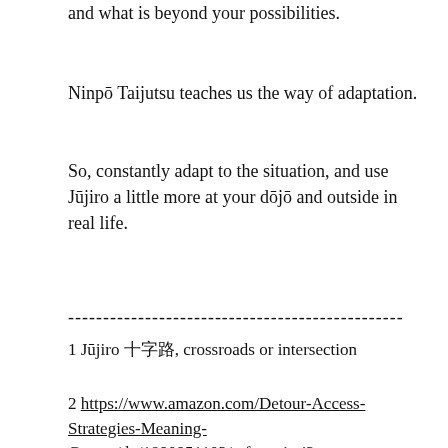way of wisdom. Fight what you can change by yourself and what is beyond your possibilities.
Ninpō Taijutsu teaches us the way of adaptation.
So, constantly adapt to the situation, and use Jūjiro a little more at your dōjō and outside in real life.
------------------------------------------------
1 Jūjiro 十字路, crossroads or intersection
2 https://www.amazon.com/Detour-Access-Strategies-Meaning-Greece/dp/1890951102/ref=sr_1_4?crid=1HD1R3XXBOZI1&dchild=1&keywords=francois+julien&qid=1635441571&s=books&sprefix=francois++julien%2Cstripbooks%2C287&sr=1-4
3 戦わない, tatakainai: non existent fight, no fight